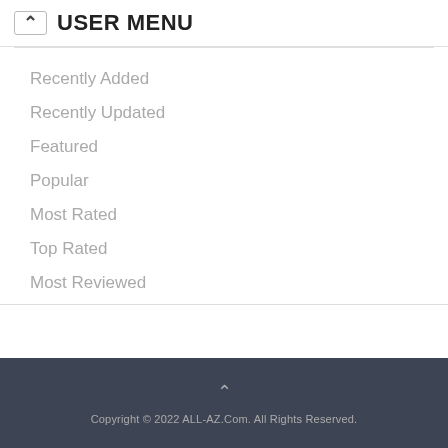USER MENU
Recently Added
Recently Updated
Featured
Popular
Most Rated
Top Rated
Most Reviewed
Copyright © 2022 ALL-AZ.Com. All Rights Reserved.